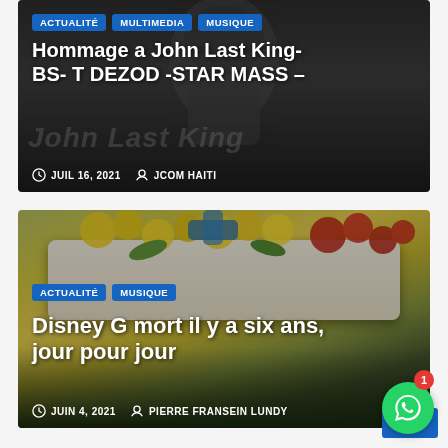[Figure (photo): Dark grayscale background with a person's face barely visible, overlaid with watermark text 'John Last King'. Article card for John Last King tribute.]
Hommage a John Last King- BS- T DEZOD -STAR MASS –
JUIL 16, 2021   JCOM HAITI
[Figure (photo): Photo of a white coffin covered with yellow and colorful flowers, people in background. Article card for Disney G death anniversary.]
Disney G mort il y a six ans, jour pour jour
JUIN 4, 2021   PIERRE FRANSEIN LUNDY